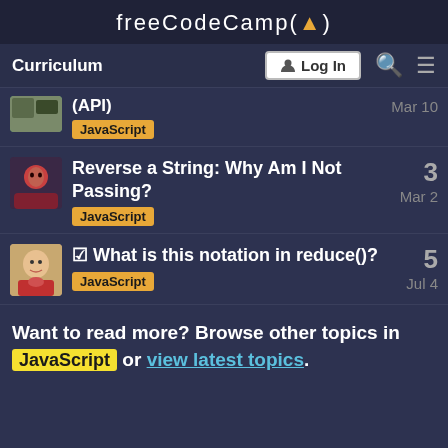freeCodeCamp(🔥)
Curriculum | Log In
(API) | JavaScript | Mar 10
Reverse a String: Why Am I Not Passing? | 3 | JavaScript | Mar 2
☑ What is this notation in reduce()? | 5 | JavaScript | Jul 4
Want to read more? Browse other topics in JavaScript or view latest topics.